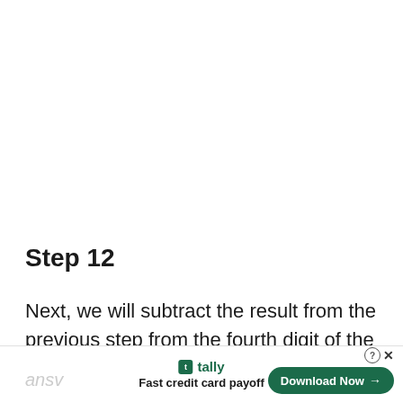Step 12
Next, we will subtract the result from the previous step from the fourth digit of the dividend (604 - 0 = 604) and write that
ansv | tally Fast credit card payoff | Download Now →